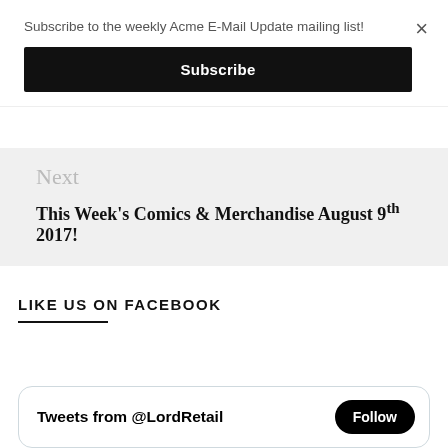Subscribe to the weekly Acme E-Mail Update mailing list!
×
Subscribe
Next
This Week's Comics & Merchandise August 9th 2017!
LIKE US ON FACEBOOK
Tweets from @LordRetail
Follow